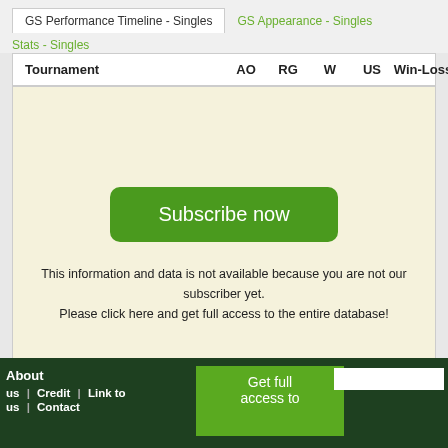GS Performance Timeline - Singles | GS Appearance - Singles | Stats - Singles
| Tournament | AO | RG | W | US | Win-Loss |
| --- | --- | --- | --- | --- | --- |
[Figure (other): Subscribe now button with beige background and message about data not being available for non-subscribers]
This information and data is not available because you are not our subscriber yet.
Please click here and get full access to the entire database!
About | us | Credit | Link to us | Contact | Get full access to